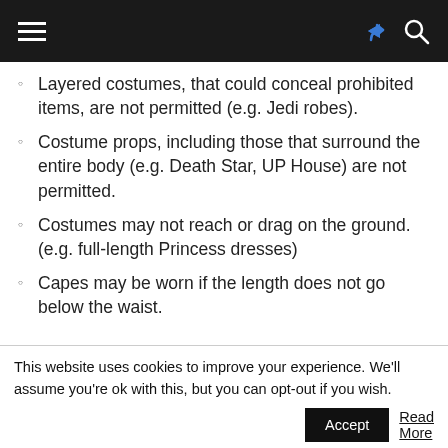Navigation bar with hamburger menu, share and search icons
Layered costumes, that could conceal prohibited items, are not permitted (e.g. Jedi robes).
Costume props, including those that surround the entire body (e.g. Death Star, UP House) are not permitted.
Costumes may not reach or drag on the ground. (e.g. full-length Princess dresses)
Capes may be worn if the length does not go below the waist.
This website uses cookies to improve your experience. We'll assume you're ok with this, but you can opt-out if you wish.
Accept  Read More